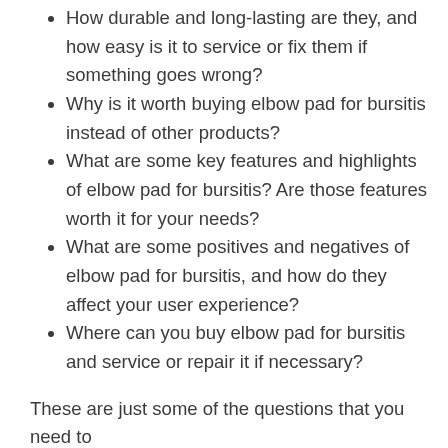How durable and long-lasting are they, and how easy is it to service or fix them if something goes wrong?
Why is it worth buying elbow pad for bursitis instead of other products?
What are some key features and highlights of elbow pad for bursitis? Are those features worth it for your needs?
What are some positives and negatives of elbow pad for bursitis, and how do they affect your user experience?
Where can you buy elbow pad for bursitis and service or repair it if necessary?
These are just some of the questions that you need to